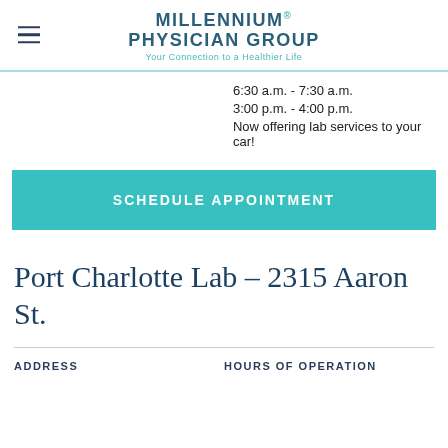MILLENNIUM PHYSICIAN GROUP — Your Connection to a Healthier Life
6:30 a.m. - 7:30 a.m.
3:00 p.m. - 4:00 p.m.
Now offering lab services to your car!
SCHEDULE APPOINTMENT
Port Charlotte Lab – 2315 Aaron St.
ADDRESS
HOURS OF OPERATION